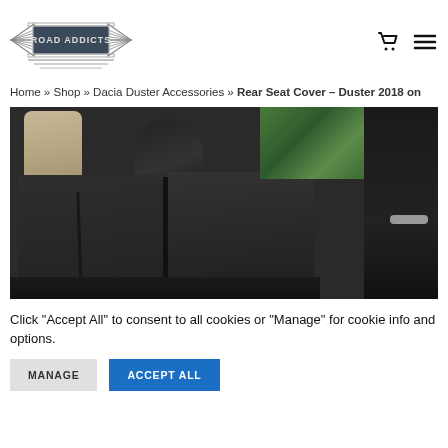[Figure (logo): Road Addicts logo with wings and banner]
Home » Shop » Dacia Duster Accessories » Rear Seat Cover – Duster 2018 on
[Figure (photo): Black leather rear seat covers installed in a Dacia Duster vehicle, showing two headrests and the full bench seat back with door panel and green foliage visible through window]
Click "Accept All" to consent to all cookies or "Manage" for cookie info and options.
MANAGE
ACCEPT ALL